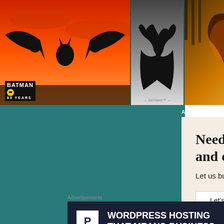[Figure (photo): Strip of Batman comic book covers along the top of the page, featuring dramatic artwork with orange/red backgrounds, bat silhouettes, and Batman 80 Years logo badges]
Advertisements
[Figure (screenshot): WordPress advertisement popup: 'Need a website quickly – and on a budget? Let us build it for you' with a 'Let's get started' button, circular photo of hands on laptop, and WordPress logo]
Advertisements
[Figure (screenshot): Pressable WordPress hosting banner advertisement: 'WORDPRESS HOSTING THAT MEANS BUSINESS.' with P logo and OPEN sign photo]